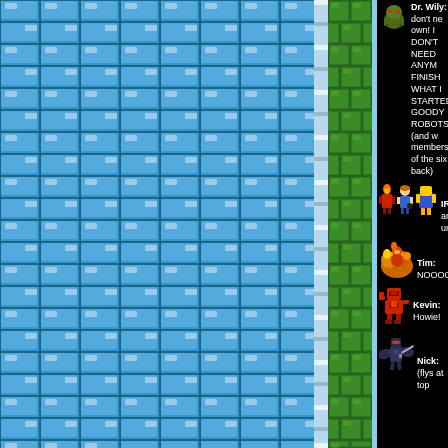[Figure (screenshot): Left portion of a video game screenshot showing a blue brick wall background with a green brick column and white horizontal ladder/bar elements along the border. The right portion shows a black dialogue panel with pixel-art character sprites and text dialogue from a Mega Man fan game or comic. Characters speaking include Dr. Wily, IRA, Scott, Tim, Kevin, and Nick.]
Dr. Wily: I don't ne own! I DON'T NEED ANYM FINISH WHAT I STARTED GOODY ROBOTS!! (and w members of the six back)
IRA, Scott, and fall unconscience)
Tim: NOOOO!!!
Kevin: Howie!
Nick: (flys at top